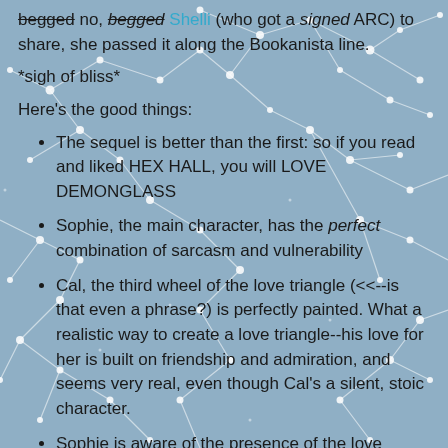begged no, begged Shelli (who got a signed ARC) to share, she passed it along the Bookanista line.
*sigh of bliss*
Here's the good things:
The sequel is better than the first: so if you read and liked HEX HALL, you will LOVE DEMONGLASS
Sophie, the main character, has the perfect combination of sarcasm and vulnerability
Cal, the third wheel of the love triangle (<<--is that even a phrase?) is perfectly painted. What a realistic way to create a love triangle--his love for her is built on friendship and admiration, and seems very real, even though Cal's a silent, stoic character.
Sophie is aware of the presence of the love triangle, and she doesn't lead him on, and that's